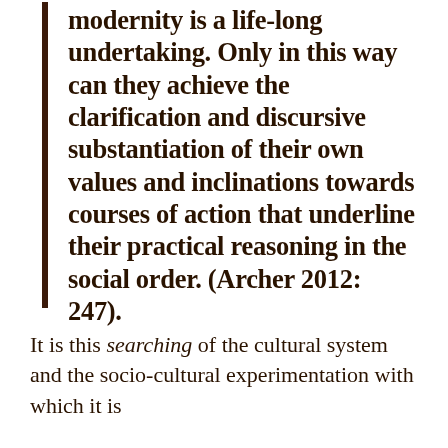modernity is a life-long undertaking. Only in this way can they achieve the clarification and discursive substantiation of their own values and inclinations towards courses of action that underline their practical reasoning in the social order. (Archer 2012: 247).
It is this searching of the cultural system and the socio-cultural experimentation with which it is